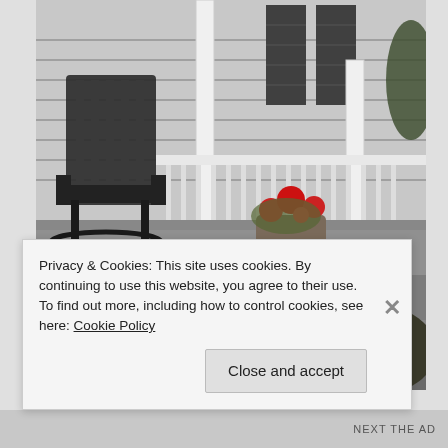[Figure (photo): Black and white photograph of a front porch with two wooden rocking chairs, white railing and columns, potted plants with red flowers on porch steps, and shrubs with red flowers. Text overlaid on the image reads: 'EVERY SO OFTEN. GO WHERE YOU CAN HEAR A WOODEN SCREEN DOOR' and partially visible author credit.]
Privacy & Cookies: This site uses cookies. By continuing to use this website, you agree to their use.
To find out more, including how to control cookies, see here: Cookie Policy
Close and accept